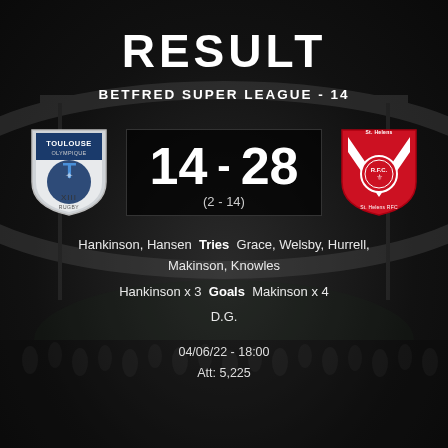RESULT
BETFRED SUPER LEAGUE - 14
[Figure (other): Toulouse Olympique crest (shield logo with blue T and cross, XIII rugby text)]
14 - 28
(2 - 14)
[Figure (other): St Helens RFC crest (red and white shield with V chevron logo)]
Hankinson, Hansen  Tries  Grace, Welsby, Hurrell, Makinson, Knowles
Hankinson x 3  Goals  Makinson x 4
D.G.
04/06/22 - 18:00
Att: 5,225